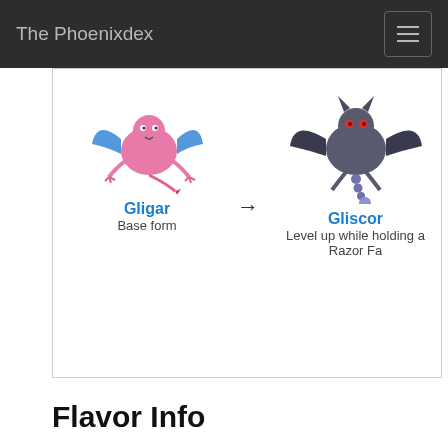The Phoenixdex
[Figure (illustration): Evolution chain showing Gligar evolving into Gliscor with a right-pointing arrow between them. Gligar is labeled 'Base form' and Gliscor is labeled 'Level up while holding a Razor Fa[ng]'.]
Flavor Info
Pokédex Entries
It observes prey while hanging inverted from branches. When the chance presents itself, it swoops!
Its flight is soundless. It uses its lengthy tail to carry off its prey... Then its elongated fangs do the rest.